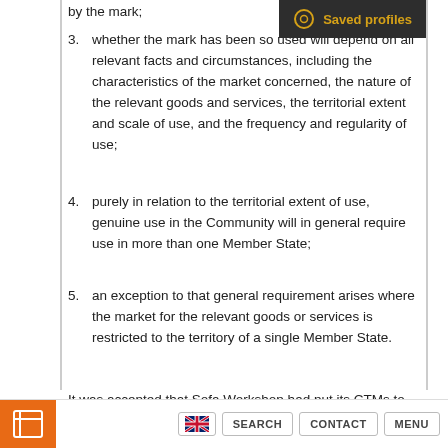by the mark;
3. whether the mark has been so used will depend on all relevant facts and circumstances, including the characteristics of the market concerned, the nature of the relevant goods and services, the territorial extent and scale of use, and the frequency and regularity of use;
4. purely in relation to the territorial extent of use, genuine use in the Community will in general require use in more than one Member State;
5. an exception to that general requirement arises where the market for the relevant goods or services is restricted to the territory of a single Member State.
It was accepted that Sofa Workshop had put its CTMs to genuine use on an extensive scale in the UK in the five year period before the counterclaim for revocation, but there was no evidence that any
SEARCH  CONTACT  MENU